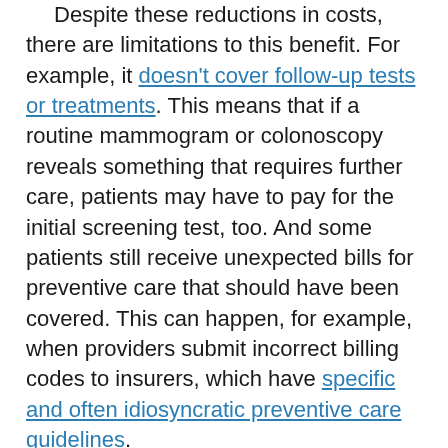Despite these reductions in costs, there are limitations to this benefit. For example, it doesn't cover follow-up tests or treatments. This means that if a routine mammogram or colonoscopy reveals something that requires further care, patients may have to pay for the initial screening test, too. And some patients still receive unexpected bills for preventive care that should have been covered. This can happen, for example, when providers submit incorrect billing codes to insurers, which have specific and often idiosyncratic preventive care guidelines.

We also studied the residual out-of-pocket costs that privately insured Americans had after using eligible preventive services in 2018. We found that these patients paid between $75 million to $219 million per year combined for services that should have been free for them. Unexpected preventive care bills were most likely to hit patients living in rural areas or the South, as well as those seeking women's services